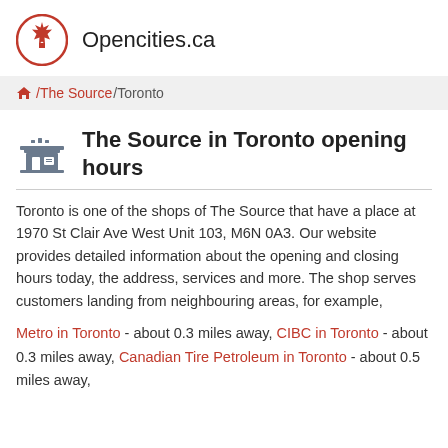Opencities.ca
🏠 /The Source /Toronto
The Source in Toronto opening hours
Toronto is one of the shops of The Source that have a place at 1970 St Clair Ave West Unit 103, M6N 0A3. Our website provides detailed information about the opening and closing hours today, the address, services and more. The shop serves customers landing from neighbouring areas, for example,
Metro in Toronto - about 0.3 miles away, CIBC in Toronto - about 0.3 miles away, Canadian Tire Petroleum in Toronto - about 0.5 miles away,